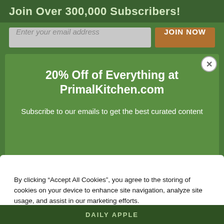Join Over 300,000 Subscribers!
Enter your email address
20% Off of Everything at PrimalKitchen.com
Subscribe to our emails to get the best curated content
By clicking “Accept All Cookies”, you agree to the storing of cookies on your device to enhance site navigation, analyze site usage, and assist in our marketing efforts.
Accept All Cookies
Cookies Settings